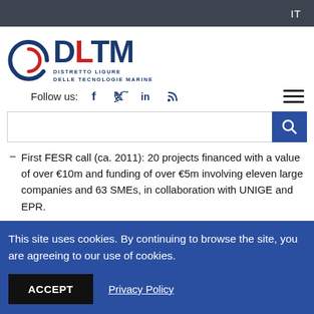IT
[Figure (logo): DLTM - Distretto Ligure delle Tecnologie Marine logo with blue swirl icon and red letter L]
Follow us:
First FESR call (ca. 2011): 20 projects financed with a value of over €10m and funding of over €5m involving eleven large companies and 63 SMEs, in collaboration with UNIGE and EPR.
This site uses cookies. By continuing to browse the site, you are agreeing to our use of cookies.
ACCEPT
Privacy Policy